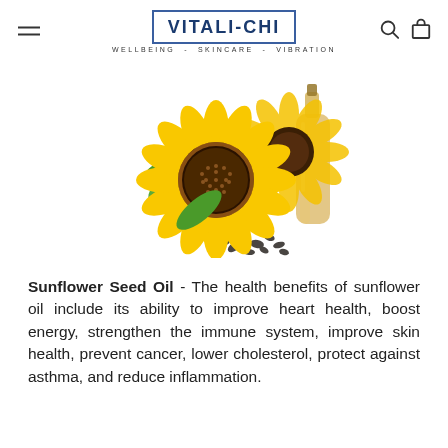VITALI-CHI — WELLBEING - SKINCARE - VIBRATION
[Figure (photo): Sunflowers with sunflower seeds and a glass bottle of golden sunflower oil on a white background.]
Sunflower Seed Oil - The health benefits of sunflower oil include its ability to improve heart health, boost energy, strengthen the immune system, improve skin health, prevent cancer, lower cholesterol, protect against asthma, and reduce inflammation.